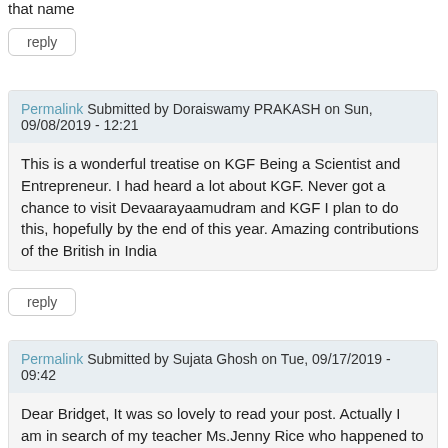that name
reply
Permalink Submitted by Doraiswamy PRAKASH on Sun, 09/08/2019 - 12:21
This is a wonderful treatise on KGF Being a Scientist and Entrepreneur. I had heard a lot about KGF. Never got a chance to visit Devaarayaamudram and KGF I plan to do this, hopefully by the end of this year. Amazing contributions of the British in India
reply
Permalink Submitted by Sujata Ghosh on Tue, 09/17/2019 - 09:42
Dear Bridget, It was so lovely to read your post. Actually I am in search of my teacher Ms.Jenny Rice who happened to be from KGF. If I could get any